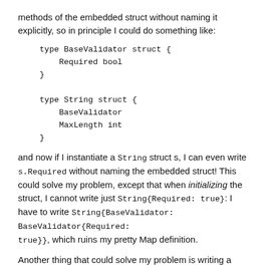methods of the embedded struct without naming it explicitly, so in principle I could do something like:
and now if I instantiate a String struct s, I can even write s.Required without naming the embedded struct! This could solve my problem, except that when initializing the struct, I cannot write just String{Required: true}: I have to write String{BaseValidator: BaseValidator{Required: true}}, which ruins my pretty Map definition.
Another thing that could solve my problem is writing a constructor function for the String type, but since Go does not have keyword arguments, that does not look pretty either. The only solution that